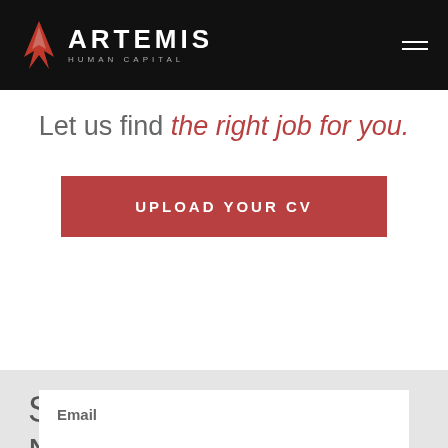ARTEMIS HUMAN CAPITAL
Let us find the right job for you.
UPLOAD YOUR CV
Sign up to our Newsletter
Email